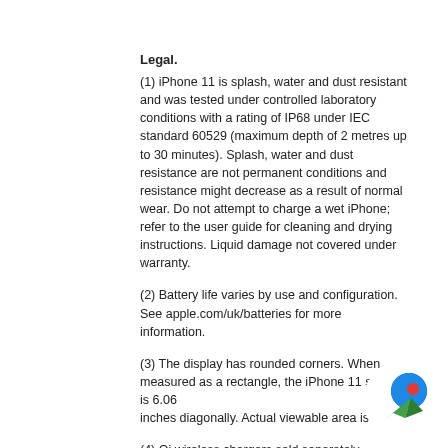Legal.
(1) iPhone 11 is splash, water and dust resistant and was tested under controlled laboratory conditions with a rating of IP68 under IEC standard 60529 (maximum depth of 2 metres up to 30 minutes). Splash, water and dust resistance are not permanent conditions and resistance might decrease as a result of normal wear. Do not attempt to charge a wet iPhone; refer to the user guide for cleaning and drying instructions. Liquid damage not covered under warranty.
(2) Battery life varies by use and configuration. See apple.com/uk/batteries for more information.
(3) The display has rounded corners. When measured as a rectangle, the iPhone 11 screen is 6.06
inches diagonally. Actual viewable area is le
(4) Qi wireless chargers sold separately.